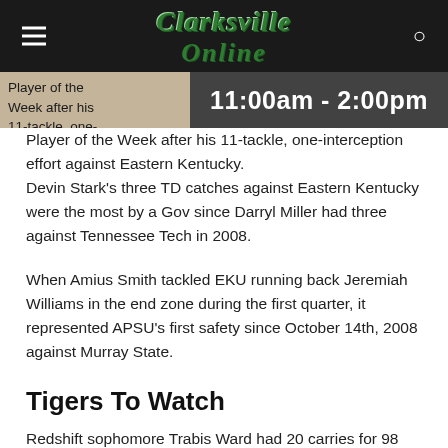Clarksville Online
[Figure (screenshot): Image bar showing partial text 'Player of the Week after his 11-tackle, one-' on the left and a dark overlay with '11:00am - 2:00pm' on the right]
Player of the Week after his 11-tackle, one-interception effort against Eastern Kentucky. Devin Stark's three TD catches against Eastern Kentucky were the most by a Gov since Darryl Miller had three against Tennessee Tech in 2008.
When Amius Smith tackled EKU running back Jeremiah Williams in the end zone during the first quarter, it represented APSU's first safety since October 14th, 2008 against Murray State.
Tigers To Watch
Redshift sophomore Trabis Ward had 20 carries for 98 total